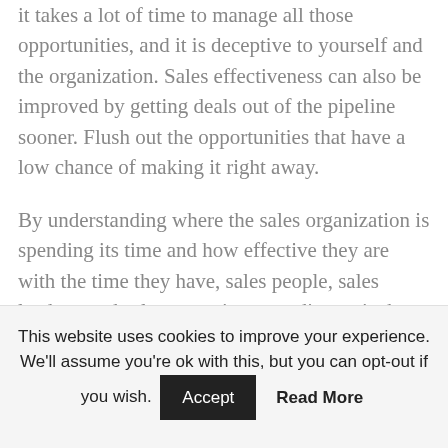it takes a lot of time to manage all those opportunities, and it is deceptive to yourself and the organization. Sales effectiveness can also be improved by getting deals out of the pipeline sooner. Flush out the opportunities that have a low chance of making it right away.

By understanding where the sales organization is spending its time and how effective they are with the time they have, sales people, sales leaders, and sales operations can diagnosis the non-revenue generating activities, understand any bottleneck activities in
This website uses cookies to improve your experience. We'll assume you're ok with this, but you can opt-out if you wish. Accept Read More